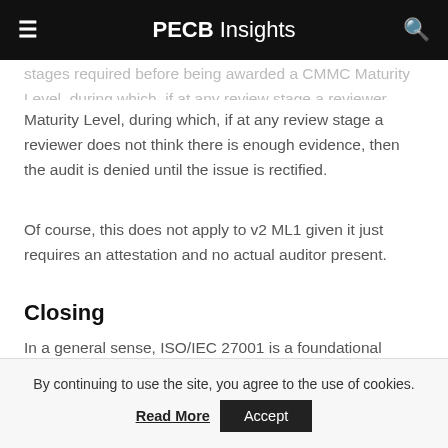PECB Insights
stages required before being awarded a CMMC Maturity Level, during which, if at any review stage a reviewer does not think there is enough evidence, then the audit is denied until the issue is rectified.
Of course, this does not apply to v2 ML1 given it just requires an attestation and no actual auditor present.
Closing
In a general sense, ISO/IEC 27001 is a foundational framework for any company to implement with a consistent evolution based on solid input by seasoned
By continuing to use the site, you agree to the use of cookies.
Read More
Accept